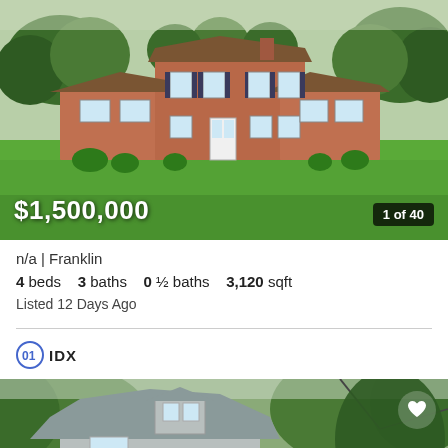[Figure (photo): Exterior photo of a brick two-story colonial house with large green lawn and surrounding trees. Price overlay: $1,500,000. Photo counter: 1 of 40.]
n/a | Franklin
4 beds   3 baths   0 ½ baths   3,120 sqft
Listed 12 Days Ago
[Figure (logo): IDX logo — circular icon with 'IDX' text in bold]
[Figure (photo): Partial exterior photo of a gray siding house with roof and trees visible, heart/favorite button in top right.]